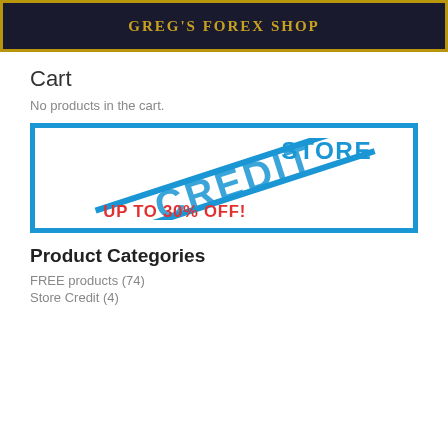[Figure (logo): Greg's Forex Shop banner with gold text on dark navy background with gold border]
Cart
No products in the cart.
[Figure (illustration): Store Credit advertisement banner with blue border, blue stamp text reading STORE CREDIT, and red text reading UP TO 30% OFF!]
Product Categories
FREE products (74)
Store Credit (4)